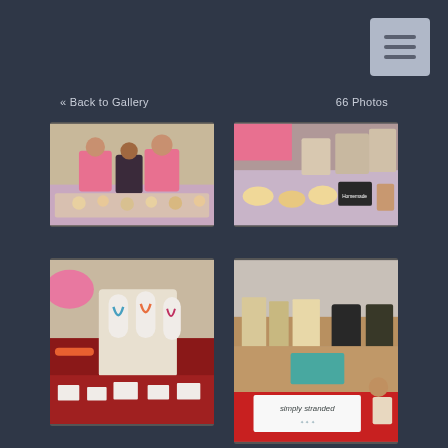[Figure (other): Hamburger menu button (three horizontal lines on a grey rounded square background)]
« Back to Gallery
66 Photos
[Figure (photo): Two women in pink shirts standing behind a vendor table with baked goods and items on a purple tablecloth]
[Figure (photo): Close-up of a vendor table with baked goods and treats on a purple tablecloth, with a chalkboard sign]
[Figure (photo): Vendor jewelry display table with necklaces on stands, earrings, and accessories on a red tablecloth]
[Figure (photo): Vendor table with 'simply stranded' sign, displaying jewelry and accessories with a red tablecloth]